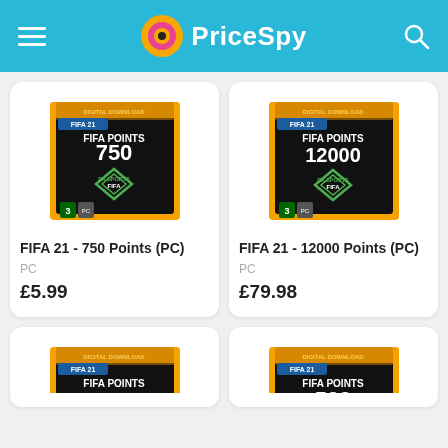PriceSpy
[Figure (photo): FIFA 21 - 750 FIFA Points PC game card product image]
FIFA 21 - 750 Points (PC)
PC
£5.99
[Figure (photo): FIFA 21 - 12000 FIFA Points PC game card product image]
FIFA 21 - 12000 Points (PC)
PC
£79.98
[Figure (photo): FIFA 21 - 1050 FIFA Points PC game card product image (partially visible)]
[Figure (photo): FIFA 21 - 500 FIFA Points PC game card product image (partially visible)]